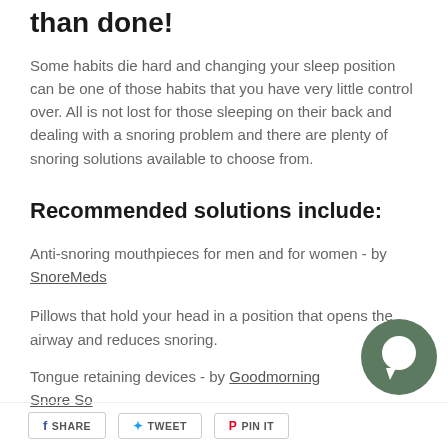than done!
Some habits die hard and changing your sleep position can be one of those habits that you have very little control over. All is not lost for those sleeping on their back and dealing with a snoring problem and there are plenty of snoring solutions available to choose from.
Recommended solutions include:
Anti-snoring mouthpieces for men and for women - by SnoreMeds
Pillows that hold your head in a position that opens the airway and reduces snoring.
Tongue retaining devices - by Goodmorning Snore So...
SHARE   TWEET   PIN IT